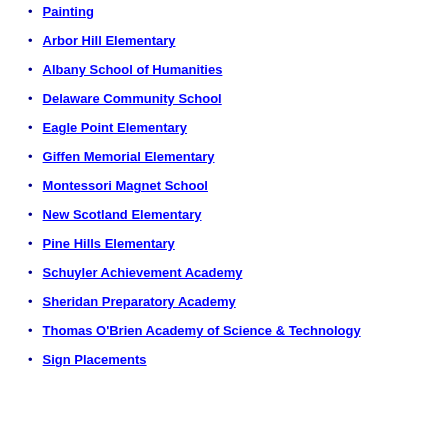Painting
Arbor Hill Elementary
Albany School of Humanities
Delaware Community School
Eagle Point Elementary
Giffen Memorial Elementary
Montessori Magnet School
New Scotland Elementary
Pine Hills Elementary
Schuyler Achievement Academy
Sheridan Preparatory Academy
Thomas O'Brien Academy of Science & Technology
Sign Placements